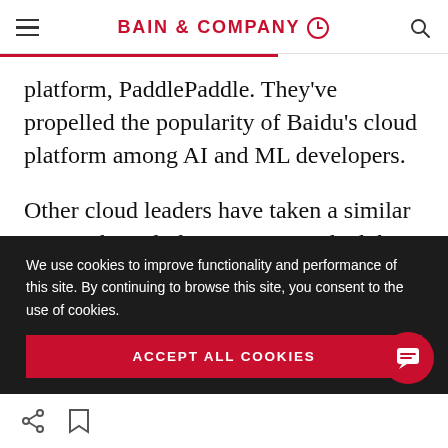BAIN & COMPANY
platform, PaddlePaddle. They’ve propelled the popularity of Baidu’s cloud platform among AI and ML developers.
Other cloud leaders have taken a similar approach, including Amazon, which has created an AI flywheel with its Alexa products. More data
We use cookies to improve functionality and performance of this site. By continuing to browse this site, you consent to the use of cookies.
ACCEPT ALL COOKIES
share | bookmark